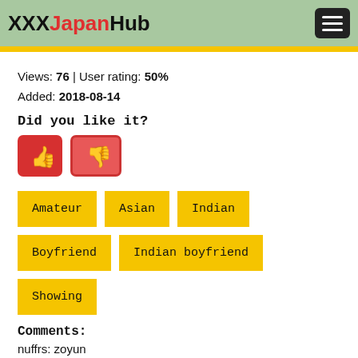XXXJapanHub
Views: 76 | User rating: 50%
Added: 2018-08-14
Did you like it?
[Figure (other): Thumbs up (red button) and thumbs down (pink/red button) voting buttons]
Amateur
Asian
Indian
Boyfriend
Indian boyfriend
Showing
Comments:
nuffrs: zoyun
Your comment goes here